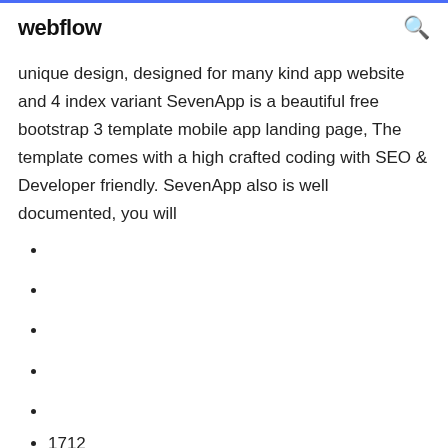webflow
unique design, designed for many kind app website and 4 index variant SevenApp is a beautiful free bootstrap 3 template mobile app landing page, The template comes with a high crafted coding with SEO & Developer friendly. SevenApp also is well documented, you will
1712
504